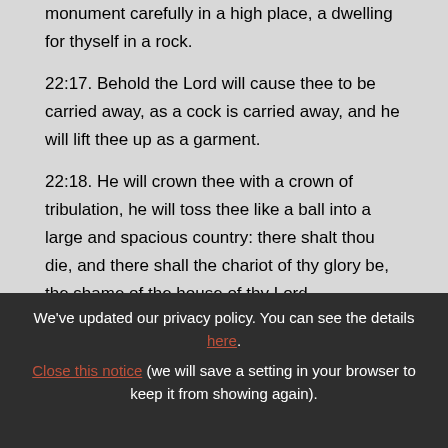monument carefully in a high place, a dwelling for thyself in a rock.

22:17. Behold the Lord will cause thee to be carried away, as a cock is carried away, and he will lift thee up as a garment.

22:18. He will crown thee with a crown of tribulation, he will toss thee like a ball into a large and spacious country: there shalt thou die, and there shall the chariot of thy glory be, the shame of the house of thy Lord.
We've updated our privacy policy. You can see the details here. Close this notice (we will save a setting in your browser to keep it from showing again).